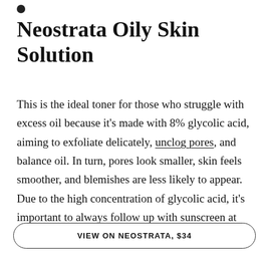Neostrata Oily Skin Solution
This is the ideal toner for those who struggle with excess oil because it's made with 8% glycolic acid, aiming to exfoliate delicately, unclog pores, and balance oil. In turn, pores look smaller, skin feels smoother, and blemishes are less likely to appear. Due to the high concentration of glycolic acid, it's important to always follow up with sunscreen at AM.
VIEW ON NEOSTRATA, $34